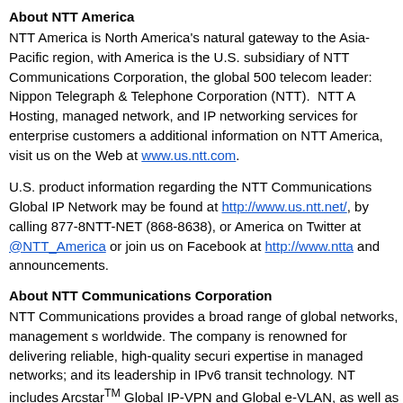About NTT America
NTT America is North America's natural gateway to the Asia-Pacific region, with America is the U.S. subsidiary of NTT Communications Corporation, the global 500 telecom leader: Nippon Telegraph & Telephone Corporation (NTT). NTT America provides Hosting, managed network, and IP networking services for enterprise customers and additional information on NTT America, visit us on the Web at www.us.ntt.com.
U.S. product information regarding the NTT Communications Global IP Network may be found at http://www.us.ntt.net/, by calling 877-8NTT-NET (868-8638), or follow NTT America on Twitter at @NTT_America or join us on Facebook at http://www.ntt and announcements.
About NTT Communications Corporation
NTT Communications provides a broad range of global networks, management services worldwide. The company is renowned for delivering reliable, high-quality security expertise in managed networks; and its leadership in IPv6 transit technology. NTT includes Arcstar™ Global IP-VPN and Global e-VLAN, as well as a Tier-1 IP backbone, partnership with major Internet service providers, and secure data centers in Asia. NTT Communications is the wholly-owned subsidiary of Nippon Telegraph and Telephone telecoms with listings on the Tokyo, London and New York stock exchanges. Ple